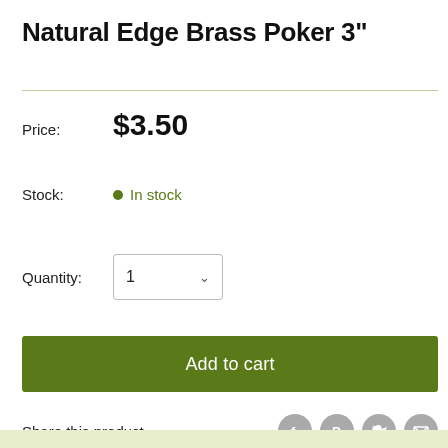Natural Edge Brass Poker 3"
Price: $3.50
Stock: In stock
Quantity: 1
Add to cart
Share this product